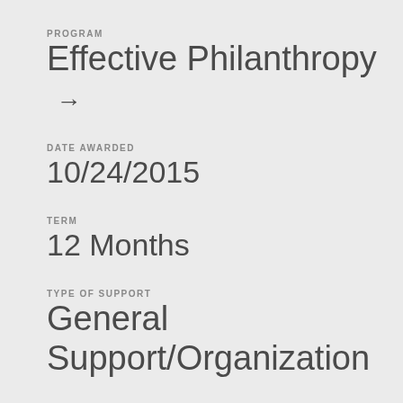PROGRAM
Effective Philanthropy →
DATE AWARDED
10/24/2015
TERM
12 Months
TYPE OF SUPPORT
General Support/Organization
STRATEGIES
K…